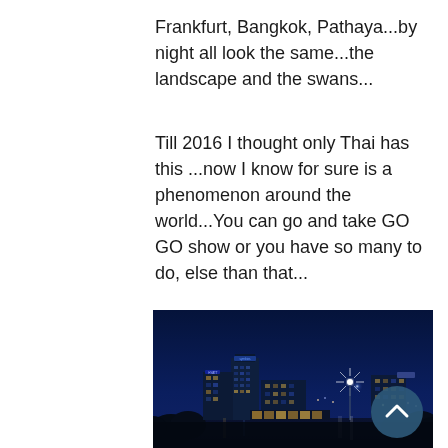Frankfurt, Bangkok, Pathaya...by night all look the same...the landscape and the swans...
Till 2016 I thought only Thai has this ...now I know for sure is a phenomenon around the world...You can go and take GO GO show or you have so many to do, else than that...
[Figure (photo): Night cityscape showing illuminated buildings and a bright starburst street light against a dark blue night sky, with reflections on water in the foreground.]